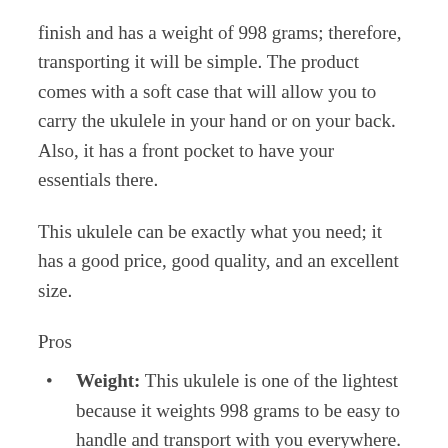finish and has a weight of 998 grams; therefore, transporting it will be simple. The product comes with a soft case that will allow you to carry the ukulele in your hand or on your back. Also, it has a front pocket to have your essentials there.
This ukulele can be exactly what you need; it has a good price, good quality, and an excellent size.
Pros
Weight: This ukulele is one of the lightest because it weights 998 grams to be easy to handle and transport with you everywhere.
Comes with a front pocket of a correct size